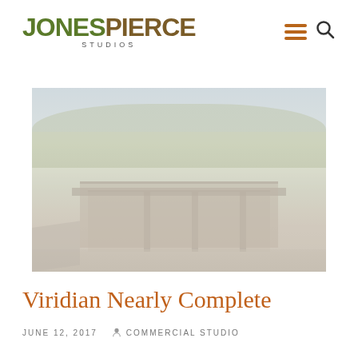[Figure (logo): JonesPierce Studios logo — JONES in olive green bold, PIERCE in brown/orange bold, STUDIOS in small spaced caps below]
[Figure (photo): Faded/washed-out exterior photograph of a modern commercial building with flat roof, concrete columns, large glass windows, surrounded by trees and landscaping]
Viridian Nearly Complete
JUNE 12, 2017   COMMERCIAL STUDIO